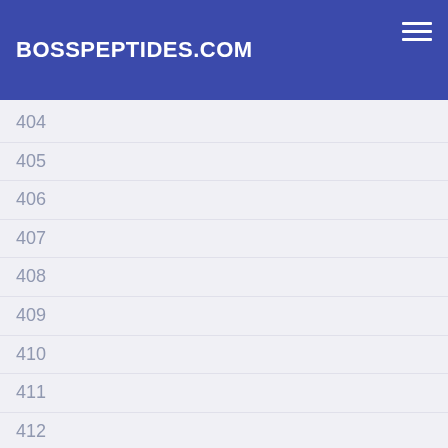BOSSPEPTIDES.COM
404
405
406
407
408
409
410
411
412
413
414
415
416
417
418